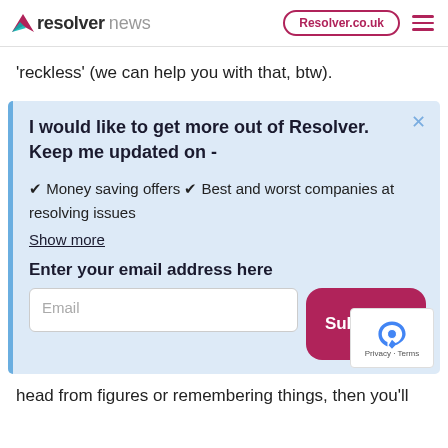resolver news | Resolver.co.uk
'reckless' (we can help you with that, btw).
I would like to get more out of Resolver. Keep me updated on -
✔ Money saving offers ✔ Best and worst companies at resolving issues
Show more
Enter your email address here
Email
Subscribe
head from figures or remembering things, then you'll